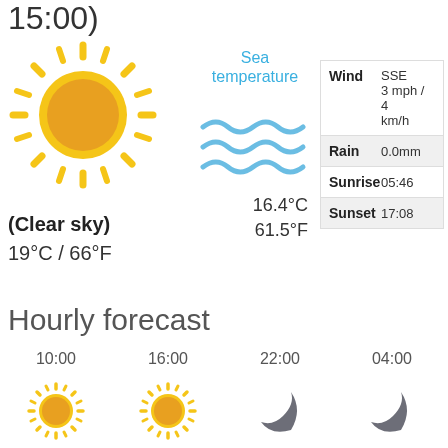15:00)
[Figure (illustration): Sun icon]
Sea temperature
[Figure (illustration): Wave/water lines icon for sea temperature]
16.4°C
61.5°F
(Clear sky)
19°C / 66°F
| Label | Value |
| --- | --- |
| Wind | SSE
3 mph / 4 km/h |
| Rain | 0.0mm |
| Sunrise | 05:46 |
| Sunset | 17:08 |
Hourly forecast
10:00  16:00  22:00  04:00
[Figure (illustration): Hourly forecast icons: sun, sun, crescent moon, crescent moon]